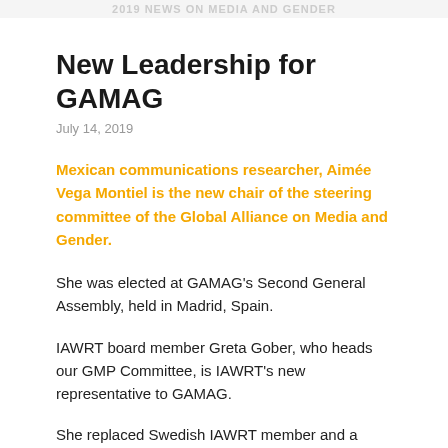2019 NEWS ON MEDIA AND GENDER
New Leadership for GAMAG
July 14, 2019
Mexican communications researcher, Aimée Vega Montiel is the new chair of the steering committee of the Global Alliance on Media and Gender.
She was elected at GAMAG's Second General Assembly, held in Madrid, Spain.
IAWRT board member Greta Gober, who heads our GMP Committee, is IAWRT's new representative to GAMAG.
She replaced Swedish IAWRT member and a former